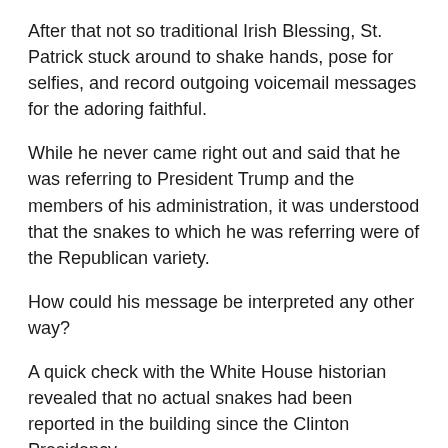After that not so traditional Irish Blessing, St. Patrick stuck around to shake hands, pose for selfies, and record outgoing voicemail messages for the adoring faithful.
While he never came right out and said that he was referring to President Trump and the members of his administration, it was understood that the snakes to which he was referring were of the Republican variety.
How could his message be interpreted any other way?
A quick check with the White House historian revealed that no actual snakes had been reported in the building since the Clinton Presidency.
A call to White House Press Secretary Sean Spicer only produced a high pitched shriek and then some